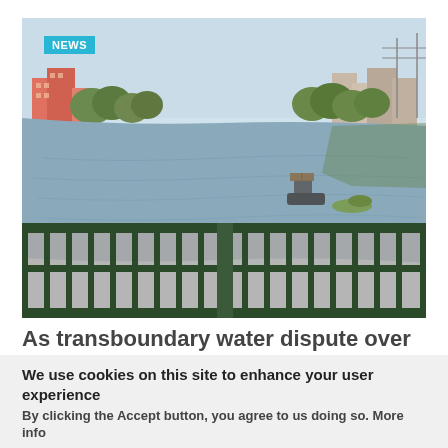[Figure (photo): View of the Nile River from a bridge, showing a metal railing in the foreground (dark green), a small boat on the river, buildings and trees along the riverbank in the background, hazy sky.]
As transboundary water dispute over Nile River worsens, WCC calls for prayers for peace
We use cookies on this site to enhance your user experience
By clicking the Accept button, you agree to us doing so. More info